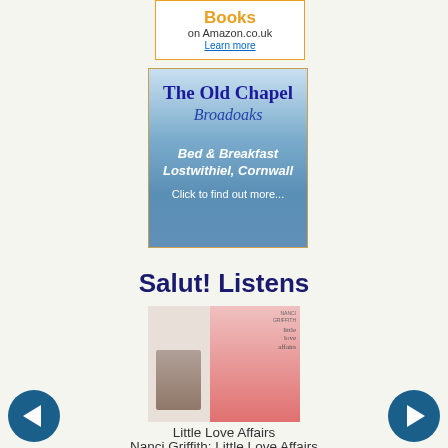[Figure (other): Books on Amazon.co.uk advertisement with orange 'Books' text and 'Learn more' link]
[Figure (other): The Old Chapel Broadoaks Bed & Breakfast Lostwithiel Cornwall advertisement with blue gradient background]
Salut! Listens
[Figure (other): Album cover for Little Love Affairs by Nanci Griffith]
Little Love Affairs
Nanci Griffith: Little Love Affairs